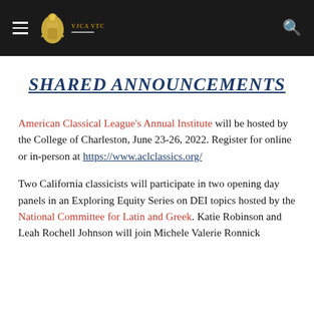Navigation header with hamburger menu, logo, and search icon
SHARED ANNOUNCEMENTS
American Classical League's Annual Institute will be hosted by the College of Charleston, June 23-26, 2022. Register for online or in-person at https://www.aclclassics.org/
Two California classicists will participate in two opening day panels in an Exploring Equity Series on DEI topics hosted by the National Committee for Latin and Greek. Katie Robinson and Leah Rochell Johnson will join Michele Valerie Ronnick